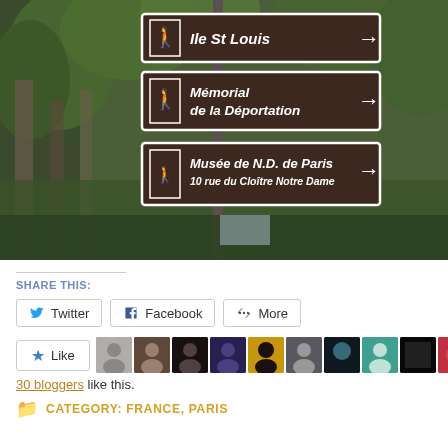[Figure (photo): Photograph of three brown French directional signs on a pole surrounded by green trees. Signs read: 'Ile St Louis →', 'Mémorial de la Déportation →', and 'Musée de N.D. de Paris 10 rue du Cloître Notre Dame →']
SHARE THIS:
Twitter
Facebook
More
30 bloggers like this.
CATEGORY: FRANCE, PARIS